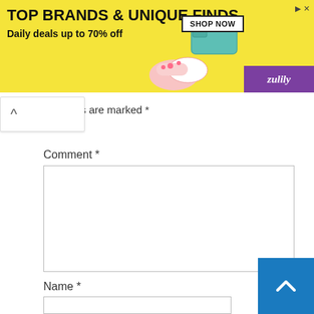[Figure (screenshot): Zulily advertisement banner with yellow background. Shows text 'TOP BRANDS & UNIQUE FINDS' and 'Daily deals up to 70% off', with a SHOP NOW button, shoe and bag images, and Zulily logo on purple background.]
ls are marked *
Comment *
Name *
[Figure (screenshot): Blue scroll-to-top button with white upward arrow chevron in bottom right corner.]